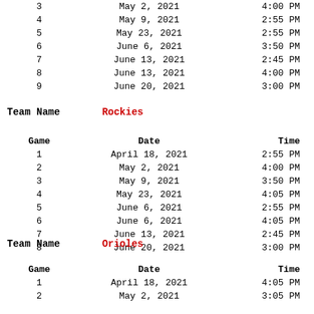| Game | Date | Time |
| --- | --- | --- |
| 3 | May 2, 2021 | 4:00 PM |
| 4 | May 9, 2021 | 2:55 PM |
| 5 | May 23, 2021 | 2:55 PM |
| 6 | June 6, 2021 | 3:50 PM |
| 7 | June 13, 2021 | 2:45 PM |
| 8 | June 13, 2021 | 4:00 PM |
| 9 | June 20, 2021 | 3:00 PM |
Team Name    Rockies
| Game | Date | Time |
| --- | --- | --- |
| 1 | April 18, 2021 | 2:55 PM |
| 2 | May 2, 2021 | 4:00 PM |
| 3 | May 9, 2021 | 3:50 PM |
| 4 | May 23, 2021 | 4:05 PM |
| 5 | June 6, 2021 | 2:55 PM |
| 6 | June 6, 2021 | 4:05 PM |
| 7 | June 13, 2021 | 2:45 PM |
| 8 | June 20, 2021 | 3:00 PM |
Team Name    Orioles
| Game | Date | Time |
| --- | --- | --- |
| 1 | April 18, 2021 | 4:05 PM |
| 2 | May 2, 2021 | 3:05 PM |